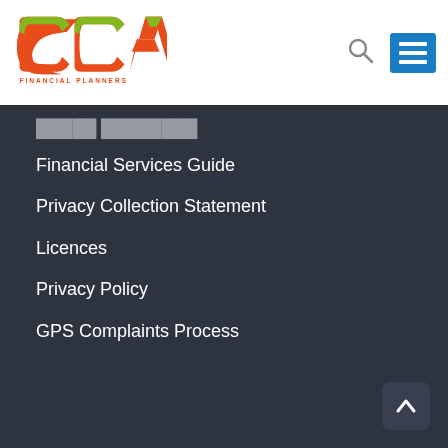[Figure (logo): CCA Financial Planners logo with orange and green stylized letters CCA and text FINANCIAL PLANNERS below]
Financial Services Guide
Privacy Collection Statement
Licences
Privacy Policy
GPS Complaints Process